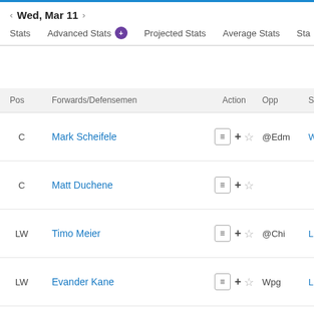Wed, Mar 11
Stats | Advanced Stats | Projected Stats | Average Stats | Sta
| Pos | Forwards/Defensemen | Action | Opp | Status |
| --- | --- | --- | --- | --- |
| C | Mark Scheifele | ☰ + ☆ | @Edm | W, 4-2 |
| C | Matt Duchene | ☰ + ☆ |  |  |
| LW | Timo Meier | ☰ + ☆ | @Chi | L, 2-6 |
| LW | Evander Kane | ☰ + ☆ | Wpg | L, 2-4 |
| RW | Mitchell Marner | ☰ + ☆ |  |  |